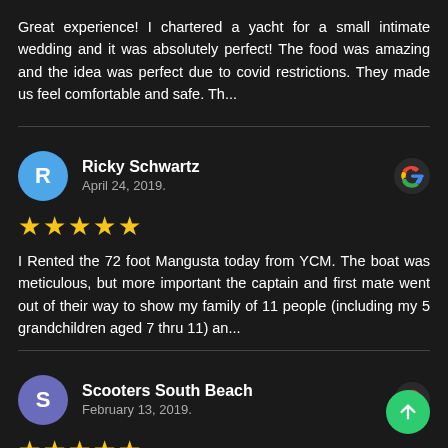Great experience! I chartered a yacht for a small intimate wedding and it was absolutely perfect! The food was amazing and the idea was perfect due to covid restrictions. They made us feel comfortable and safe. Th…
Ricky Schwartz
April 24, 2019.
★★★★★
I Rented the 72 foot Mangusta today from YCM. The boat was meticulous, but more important the captain and first mate went out of their way to show my family of 11 people (including my 5 grandchildren aged 7 thru 11) an…
Scooters South Beach
February 13, 2019.
★★★★★
Always top customer service, newest yachts, great crew.